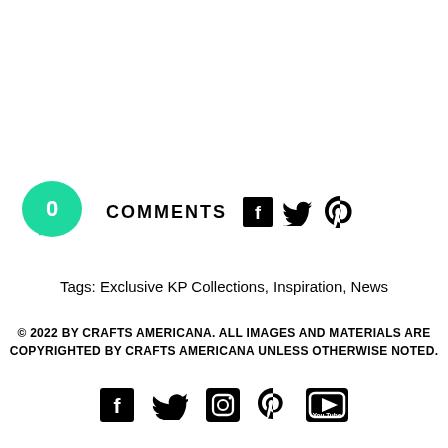0 COMMENTS
Tags: Exclusive KP Collections, Inspiration, News
© 2022 BY CRAFTS AMERICANA. ALL IMAGES AND MATERIALS ARE COPYRIGHTED BY CRAFTS AMERICANA UNLESS OTHERWISE NOTED.